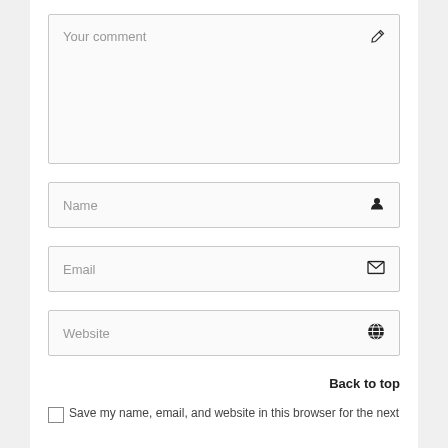Your comment
Name
Email
Website
Back to top
Save my name, email, and website in this browser for the next